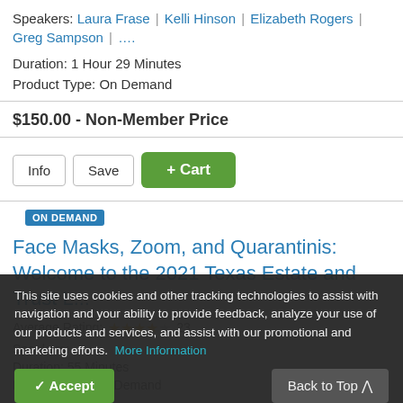Speakers: Laura Frase | Kelli Hinson | Elizabeth Rogers | Greg Sampson | ....
Duration: 1 Hour 29 Minutes
Product Type: On Demand
$150.00 - Non-Member Price
[Figure (screenshot): UI buttons: Info, Save, and + Cart (green)]
ON DEMAND
Face Masks, Zoom, and Quarantinis: Welcome to the 2021 Texas Estate and Trust L...
Average Rating: ★★★★½ 23
This site uses cookies and other tracking technologies to assist with navigation and your ability to provide feedback, analyze your use of our products and services, and assist with our promotional and marketing efforts. More Information
Duration: 55 Minutes
Product Type: On Demand